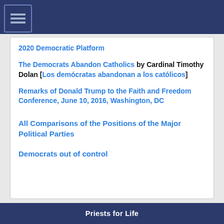2020 Democratic Platform
The Democrats Abandon Catholics by Cardinal Timothy Dolan [Los demócratas abandonan a los católicos]
Remarks of Donald Trump to the Faith and Freedom Conference, June 10, 2016, Washington, DC
All Comparisons of the Positions of the Major Political Parties
Democrats out of control
Priests for Life